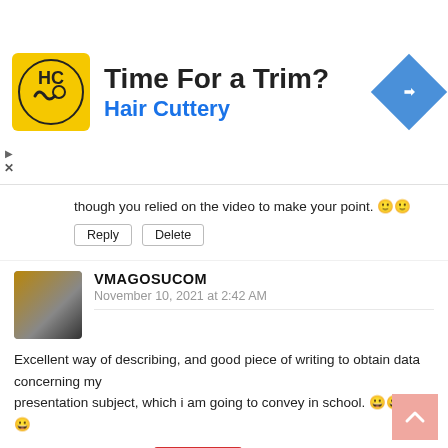[Figure (infographic): Ad banner for Hair Cuttery with logo, 'Time For a Trim?' headline, 'Hair Cuttery' subline, and navigation icon]
...more, and have all have to say. Literally, it seems as though you relied on the video to make your point. 🙂
Reply   Delete
VMAGOSUCOM
November 10, 2021 at 2:42 AM
Excellent way of describing, and good piece of writing to obtain data concerning my presentation subject, which i am going to convey in school. 🙂🙂
Reply   Delete   ✕ CLOSE
UNKNOWN
November 10, 2021 at 7:18 PM
Amazing article..!! Thank you so much for this informative